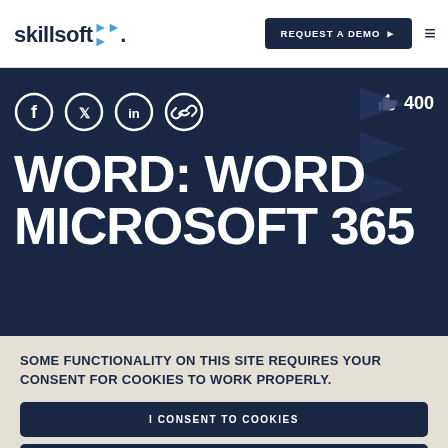skillsoft | REQUEST A DEMO
[Figure (screenshot): Social media icons: Facebook, Twitter, LinkedIn, Link. Like count: 400. Play button triangles decorative.]
WORD: WORD MICROSOFT 365
SOME FUNCTIONALITY ON THIS SITE REQUIRES YOUR CONSENT FOR COOKIES TO WORK PROPERLY.
I CONSENT TO COOKIES
I WANT MORE INFORMATION